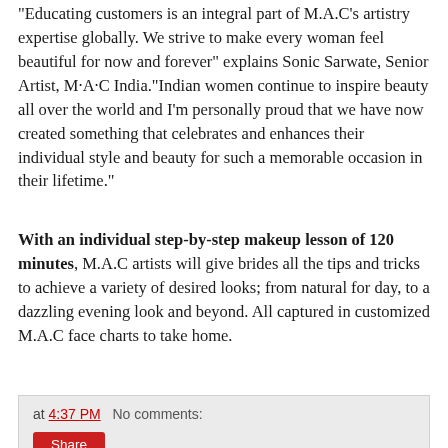“Educating customers is an integral part of M.A.C’s artistry expertise globally. We strive to make every woman feel beautiful for now and forever” explains Sonic Sarwate, Senior Artist, M·A·C India.“Indian women continue to inspire beauty all over the world and I’m personally proud that we have now created something that celebrates and enhances their individual style and beauty for such a memorable occasion in their lifetime.”
With an individual step-by-step makeup lesson of 120 minutes, M.A.C artists will give brides all the tips and tricks to achieve a variety of desired looks; from natural for day, to a dazzling evening look and beyond. All captured in customized M.A.C face charts to take home.
at 4:37 PM   No comments:
Share
Friday, January 17, 2014
Hi, I am New here!